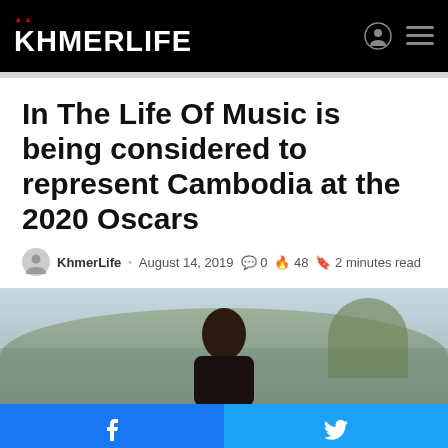KHMERLIFE
In The Life Of Music is being considered to represent Cambodia at the 2020 Oscars
KhmerLife · August 14, 2019 · 0 comments · 48 · 2 minutes read
[Figure (photo): A woman photographed outdoors with palm trees and a grey sky in the background]
[Figure (infographic): Social share bar with Facebook and Twitter buttons at the bottom of the page]